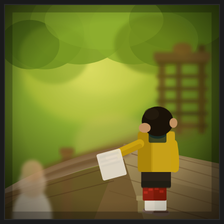[Figure (photo): A young toddler in a yellow shirt, dark shorts with red knee pads, white socks and sandals, standing on a wooden deck/bridge at a Japanese-style garden or temple. The child faces away from camera toward wooden railings and a wooden gate structure. Lush green trees are visible in the background with warm golden light. An adult in white is partially visible on the left side.]